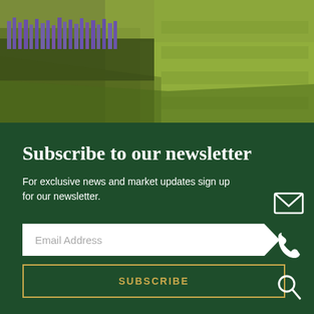[Figure (photo): Outdoor garden/field photo showing purple lavender flowers along a border with a green grassy lawn area, viewed from above at an angle.]
Subscribe to our newsletter
For exclusive news and market updates sign up for our newsletter.
Email Address
SUBSCRIBE